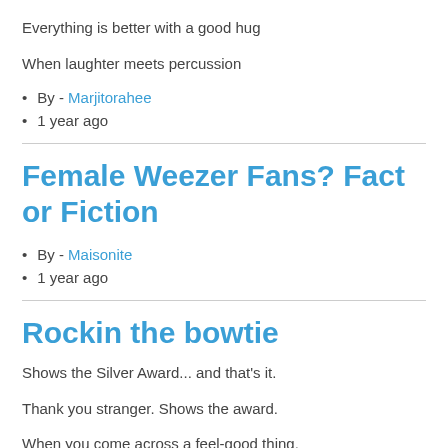Everything is better with a good hug
When laughter meets percussion
By - Marjitorahee
1 year ago
Female Weezer Fans? Fact or Fiction
By - Maisonite
1 year ago
Rockin the bowtie
Shows the Silver Award... and that's it.
Thank you stranger. Shows the award.
When you come across a feel-good thing.